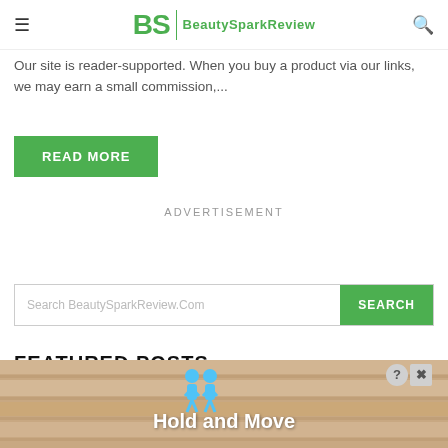BeautySparkReview
Our site is reader-supported. When you buy a product via our links, we may earn a small commission,...
READ MORE
ADVERTISEMENT
Search BeautySparkReview.Com
FEATURED POSTS
[Figure (infographic): Advertisement overlay banner showing two blue figures with 'Hold and Move' text on a wooden background, with a close (X) and help (?) button]